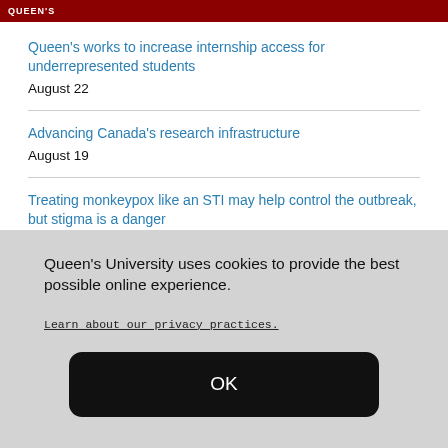Queen's University
Queen's works to increase internship access for underrepresented students
August 22
Advancing Canada's research infrastructure
August 19
Treating monkeypox like an STI may help control the outbreak, but stigma is a danger
August 17
Queen's University uses cookies to provide the best possible online experience.
Learn about our privacy practices.
OK